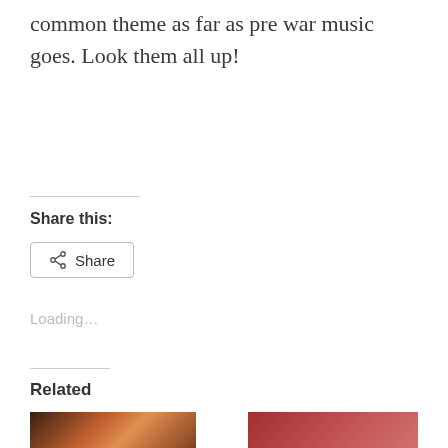common theme as far as pre war music goes. Look them all up!
Share this:
Share
Loading...
Related
[Figure (photo): Photo of flowers with red/orange tones]
[Figure (photo): Photo with red/brown tones, possibly a book or record]